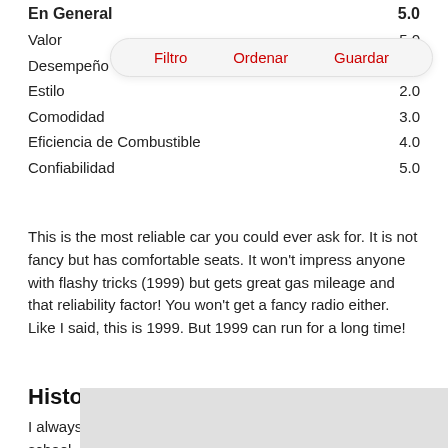En General  5.0
Valor  5.0
Desempeño  1.0
Estilo  2.0
Comodidad  3.0
Eficiencia de Combustible  4.0
Confiabilidad  5.0
[Figure (screenshot): Popup menu overlay showing three red buttons: Filtro, Ordenar, Guardar]
This is the most reliable car you could ever ask for. It is not fancy but has comfortable seats. It won't impress anyone with flashy tricks (1999) but gets great gas mileage and that reliability factor! You won't get a fancy radio either. Like I said, this is 1999. But 1999 can run for a long time!
Historia
I always loved picking my friends up in this car in high school, and we would drive to Friendlys at midnight and get chocolate milkshakes.